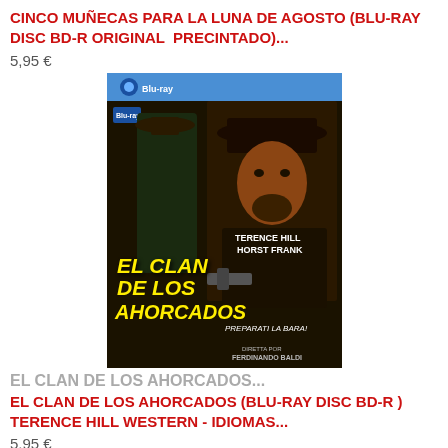CINCO MUÑECAS PARA LA LUNA DE AGOSTO (BLU-RAY DISC BD-R ORIGINAL  PRECINTADO)...
5,95 €
[Figure (photo): Blu-ray disc cover of 'El Clan de los Ahorcados' (Preparati la bara!) featuring a man in a cowboy hat holding a gun, with another figure in background. Yellow bold title text 'EL CLAN DE LOS AHORCADOS' and cast names TERENCE HILL, HORST FRANK. Directed by Ferdinando Baldi.]
EL CLAN DE LOS AHORCADOS...
EL CLAN DE LOS AHORCADOS (BLU-RAY DISC BD-R ) TERENCE HILL WESTERN - IDIOMAS...
5,95 €
[Figure (photo): Partial view of a second Blu-ray disc cover with blue top bar visible, showing the beginning of another movie cover.]